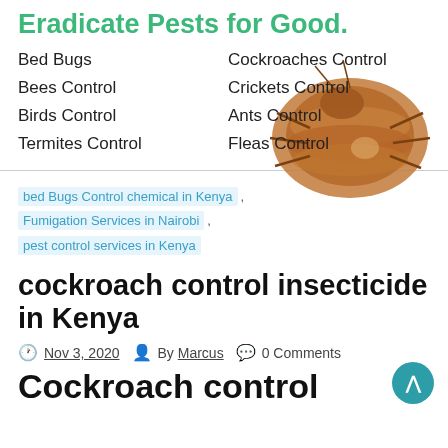Eradicate Pests for Good.
Bed Bugs
Cockroaches Control
Bees Control
Crickets Control
Birds Control
Ants Control
Termites Control
Fleas Control
[Figure (photo): Close-up photo of a bed bug (brown, oval-shaped insect) on a white background, positioned in the upper right of the pest services section.]
bed Bugs Control chemical in Kenya , Fumigation Services in Nairobi , pest control services in Kenya
cockroach control insecticide in Kenya
Nov 3, 2020   By Marcus   0 Comments
Cockroach control